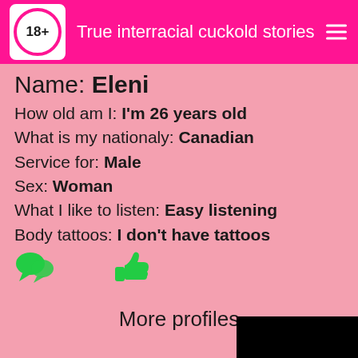True interracial cuckold stories
Name: Eleni
How old am I: I'm 26 years old
What is my nationaly: Canadian
Service for: Male
Sex: Woman
What I like to listen: Easy listening
Body tattoos: I don't have tattoos
[Figure (illustration): Green chat bubble icon and green thumbs up icon]
More profiles
[Figure (photo): Black rectangle at bottom right corner]